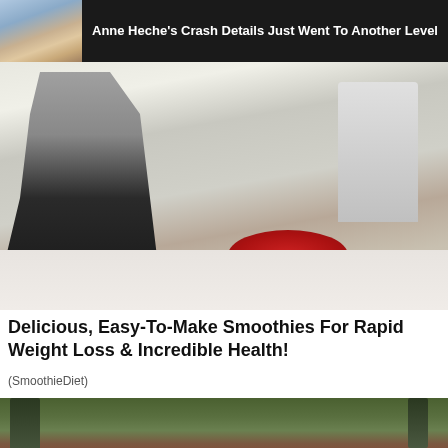[Figure (photo): News ad banner with a photo of Anne Heche (blonde woman) on dark background with headline text]
Anne Heche's Crash Details Just Went To Another Level
[Figure (photo): Photo of a woman in grey top and black skirt standing at a white kitchen counter with blender, bowl of fruit, and tomatoes]
Delicious, Easy-To-Make Smoothies For Rapid Weight Loss & Incredible Health!
(SmoothieDiet)
[Figure (photo): Photo of a Camp Lejeune brick sign with text 'CAMP LEJEUNE HOME OF' surrounded by trees]